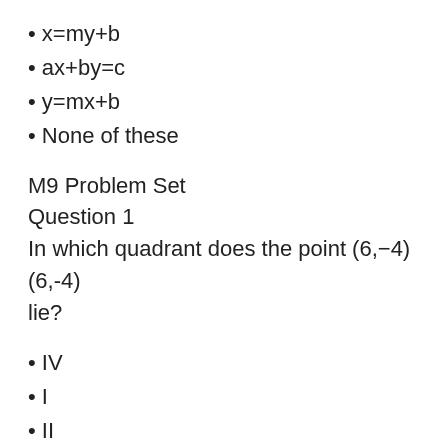x=my+b
ax+by=c
y=mx+b
None of these
M9 Problem Set
Question 1
In which quadrant does the point (6,−4)(6,-4) lie?
IV
I
II
III